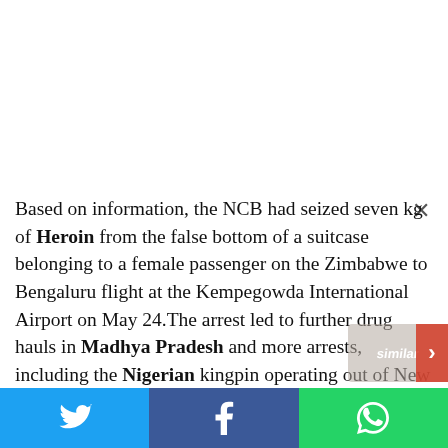Based on information, the NCB had seized seven kg of Heroin from the false bottom of a suitcase belonging to a female passenger on the Zimbabwe to Bengaluru flight at the Kempegowda International Airport on May 24.The arrest led to further drug hauls in Madhya Pradesh and more arrests, including the Nigerian kingpin operating out of New Delhi, NCB officials added.The woman, who was apprehended along with her associate at the airport revealed that a similar bag was kept in the lodge where they were staying.That led